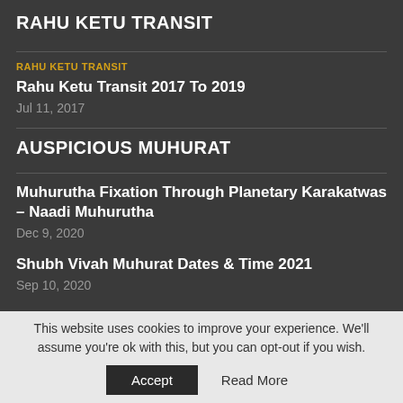RAHU KETU TRANSIT
RAHU KETU TRANSIT
Rahu Ketu Transit 2017 To 2019
Jul 11, 2017
AUSPICIOUS MUHURAT
Muhurutha Fixation Through Planetary Karakatwas – Naadi Muhurutha
Dec 9, 2020
Shubh Vivah Muhurat Dates & Time 2021
Sep 10, 2020
This website uses cookies to improve your experience. We'll assume you're ok with this, but you can opt-out if you wish.